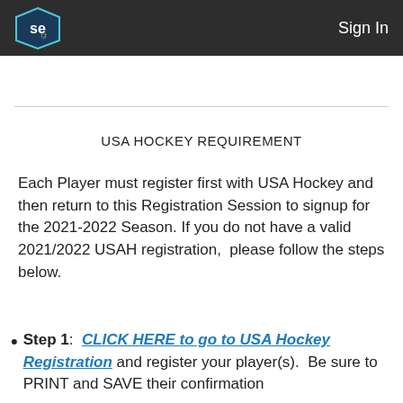SE NBC | Sign In
USA HOCKEY REQUIREMENT
Each Player must register first with USA Hockey and then return to this Registration Session to signup for the 2021-2022 Season. If you do not have a valid 2021/2022 USAH registration,  please follow the steps below.
Step 1:  CLICK HERE to go to USA Hockey Registration and register your player(s).  Be sure to PRINT and SAVE their confirmation